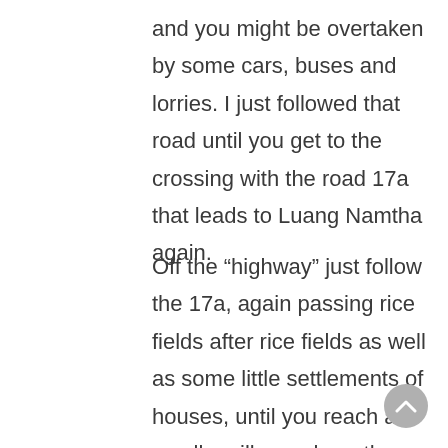and you might be overtaken by some cars, buses and lorries. I just followed that road until you get to the crossing with the road 17a that leads to Luang Namtha again.
Off the “highway” just follow the 17a, again passing rice fields after rice fields as well as some little settlements of houses, until you reach a smaller village where the bus station and airport is located (Done Khuon).
In that village you will see a paved road